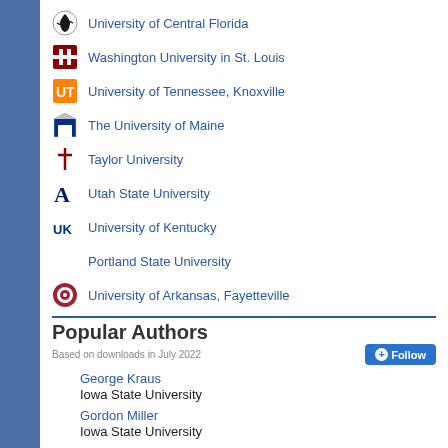University of Central Florida
Washington University in St. Louis
University of Tennessee, Knoxville
The University of Maine
Taylor University
Utah State University
University of Kentucky
Portland State University
University of Arkansas, Fayetteville
Popular Authors
Based on downloads in July 2022
George Kraus
Iowa State University
Gordon Miller
Iowa State University
Thomas Holme